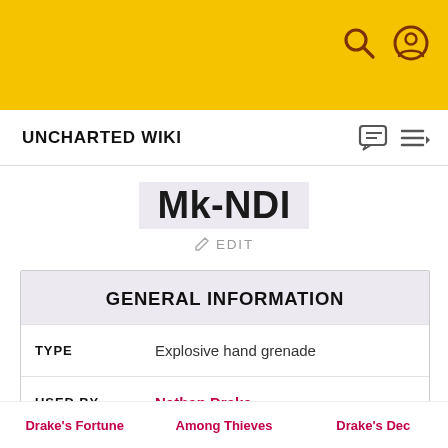UNCHARTED WIKI
Mk-NDI
EDIT
GENERAL INFORMATION
| Field | Value |
| --- | --- |
| TYPE | Explosive hand grenade |
| USED BY | Nathan Drake |
Drake's Fortune  Among Thieves  Drake's Dec